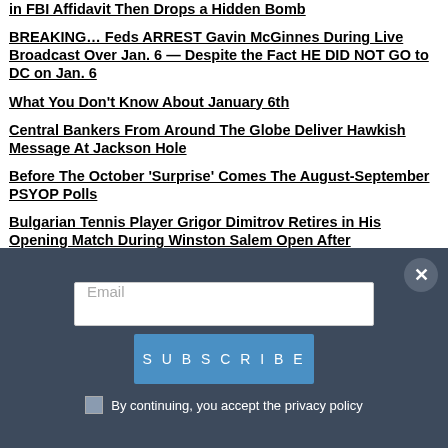in FBI Affidavit Then Drops a Hidden Bomb
BREAKING… Feds ARREST Gavin McGinnes During Live Broadcast Over Jan. 6 — Despite the Fact HE DID NOT GO to DC on Jan. 6
What You Don't Know About January 6th
Central Bankers From Around The Globe Deliver Hawkish Message At Jackson Hole
Before The October 'Surprise' Comes The August-September PSYOP Polls
Bulgarian Tennis Player Grigor Dimitrov Retires in His Opening Match During Winston Salem Open After Experiencing Dizziness and Shortness of Breath (VIDEO)
Religious persecution is closer to home than most Americans realize
Abortionists complain they are 'ostracized' by even medical community
[Figure (other): Email subscription modal with email input field, Subscribe button, close button, and privacy policy checkbox]